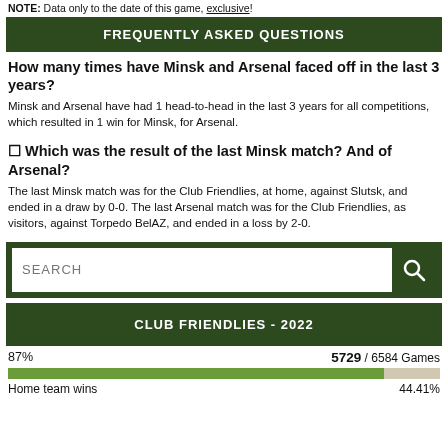NOTE: Data only to the date of this game, exclusive!
FREQUENTLY ASKED QUESTIONS
How many times have Minsk and Arsenal faced off in the last 3 years?
Minsk and Arsenal have had 1 head-to-head in the last 3 years for all competitions, which resulted in 1 win for Minsk, for Arsenal.
🔲 Which was the result of the last Minsk match? And of Arsenal?
The last Minsk match was for the Club Friendlies, at home, against Slutsk, and ended in a draw by 0-0. The last Arsenal match was for the Club Friendlies, as visitors, against Torpedo BelAZ, and ended in a loss by 2-0.
CLUB FRIENDLIES - 2022
87%
5729 / 6584 Games
Home team wins  44.41%